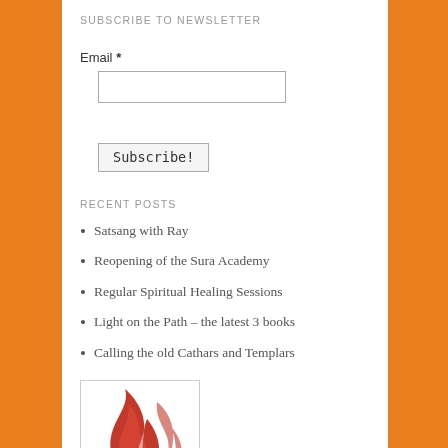SUBSCRIBE TO NEWSLETTER
Email *
Subscribe!
RECENT POSTS
Satsang with Ray
Reopening of the Sura Academy
Regular Spiritual Healing Sessions
Light on the Path – the latest 3 books
Calling the old Cathars and Templars
[Figure (logo): A red flame logo on white background inside a bordered box]